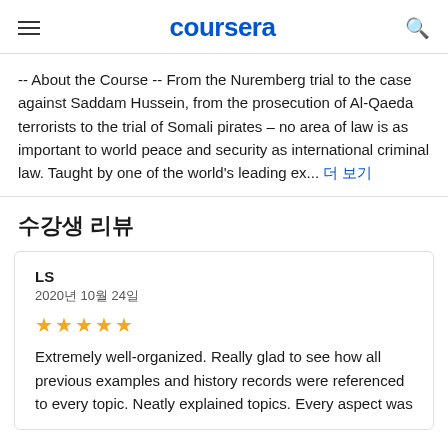coursera
-- About the Course -- From the Nuremberg trial to the case against Saddam Hussein, from the prosecution of Al-Qaeda terrorists to the trial of Somali pirates – no area of law is as important to world peace and security as international criminal law. Taught by one of the world's leading ex... 더 보기
수강생 리뷰
LS
2020년 10월 24일
★★★★★
Extremely well-organized. Really glad to see how all previous examples and history records were referenced to every topic. Neatly explained topics. Every aspect was